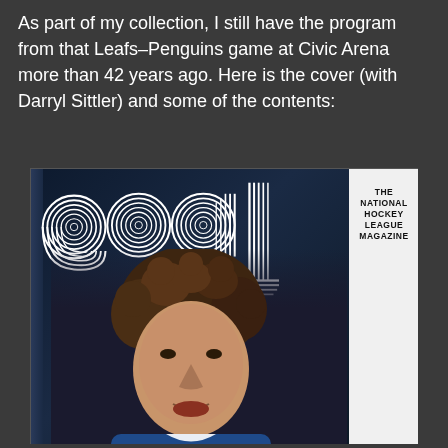As part of my collection, I still have the program from that Leafs–Penguins game at Civic Arena more than 42 years ago. Here is the cover (with Darryl Sittler) and some of the contents:
[Figure (photo): Magazine cover of 'goal - The National Hockey League Magazine' featuring Darryl Sittler on the cover wearing a Toronto Maple Leafs blue jersey. The word 'goal' appears in large concentric-line style lettering on the top left, with 'THE NATIONAL HOCKEY LEAGUE MAGAZINE' text on the right side panel. The background is dark navy/black.]